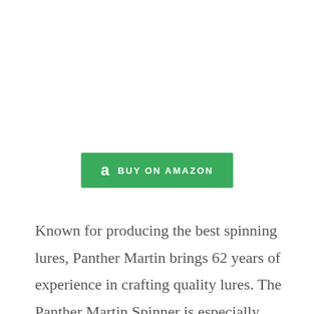[Figure (other): Green 'Buy on Amazon' button with Amazon 'a' logo icon on the left and 'BUY ON AMAZON' text in white capital letters]
Known for producing the best spinning lures, Panther Martin brings 62 years of experience in crafting quality lures. The Panther Martin Spinner is especially known for catching trout, but it's also proven effective in catching